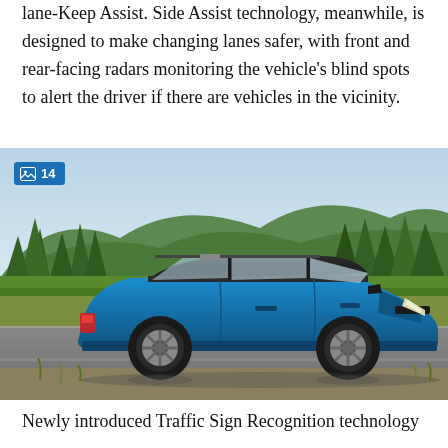lane-Keep Assist. Side Assist technology, meanwhile, is designed to make changing lanes safer, with front and rear-facing radars monitoring the vehicle's blind spots to alert the driver if there are vehicles in the vicinity.
[Figure (photo): Blue compact SUV (side profile) parked on a road with green trees and hills in the background. A badge overlay in the upper left shows an image icon with the number 14.]
Newly introduced Traffic Sign Recognition technology